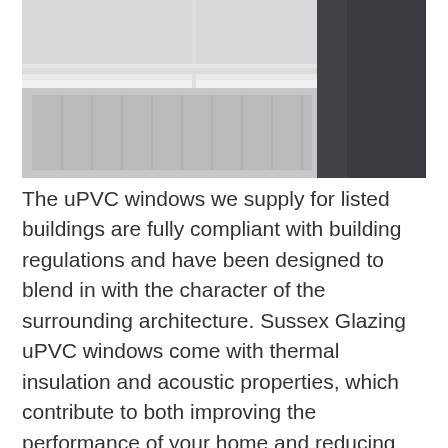[Figure (photo): Interior photo showing a white radiator and window sill area with white crown molding/cornice, partially covered by a dark curtain or blind on the right side.]
The uPVC windows we supply for listed buildings are fully compliant with building regulations and have been designed to blend in with the character of the surrounding architecture. Sussex Glazing uPVC windows come with thermal insulation and acoustic properties, which contribute to both improving the performance of your home and reducing your energy bills. Our uPVC sash windows are the perfect cost-effective way to give your property an authentic traditional charm. We have a friendly and dedicated team of professionals who are here to make sure your home gets the perfect and quality uPVC window. We pride